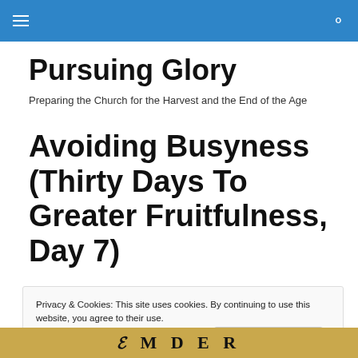≡  🔍
Pursuing Glory
Preparing the Church for the Harvest and the End of the Age
Avoiding Busyness (Thirty Days To Greater Fruitfulness, Day 7)
Privacy & Cookies: This site uses cookies. By continuing to use this website, you agree to their use.
To find out more, including how to control cookies, see here: Cookie Policy
[Figure (photo): Partial bottom image showing decorative text in old-style serif font on a golden/tan background, showing letters 'E M D E R' visible]